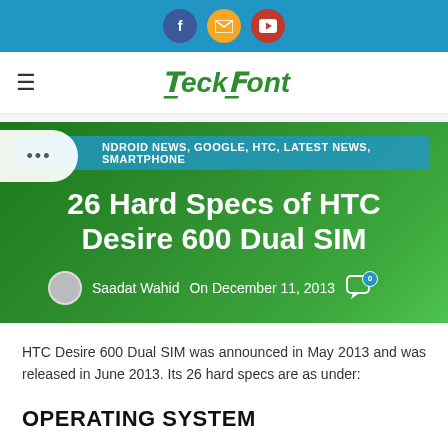Social bar with Facebook, Email, YouTube icons
TeckFront navigation header
ANDROID NEWS, GOOGLE, HTC, LATEST NEWS, SMARTPHONE
26 Hard Specs of HTC Desire 600 Dual SIM
Saadat Wahid  On December 11, 2013  0
HTC Desire 600 Dual SIM was announced in May 2013 and was released in June 2013. Its 26 hard specs are as under:
OPERATING SYSTEM